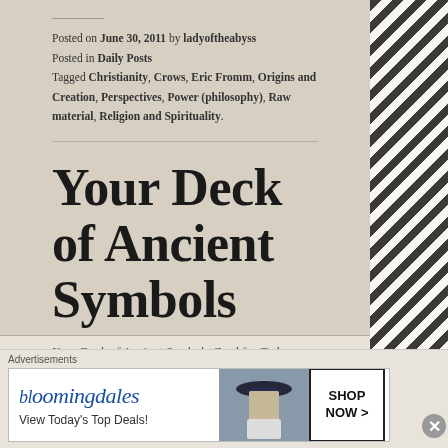Posted on June 30, 2011 by ladyoftheabyss
Posted in Daily Posts
Tagged Christianity, Crows, Eric Fromm, Origins and Creation, Perspectives, Power (philosophy), Raw material, Religion and Spirituality.
Your Deck of Ancient Symbols Card for April 26
Your Deck of Ancient Symbols Card for Today
Advertisements
[Figure (screenshot): Bloomingdales advertisement banner: logo 'bloomingdales', text 'View Today's Top Deals!', photo of woman with hat, 'SHOP NOW >' button]